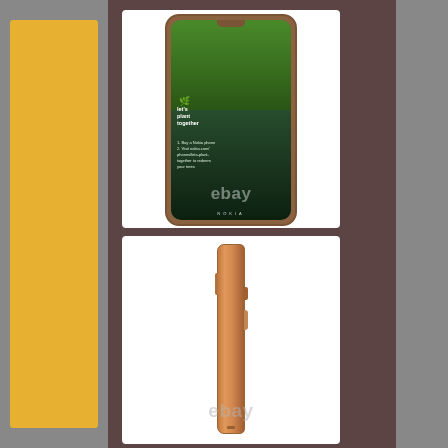[Figure (photo): Nokia smartphone front face showing screen with 'Let's plant together' campaign content, forest/tree background on screen, eBay watermark overlay. Phone has warm copper/bronze bezel.]
[Figure (photo): Nokia smartphone side profile view showing copper/bronze colored frame with volume buttons and power/fingerprint button on the side. White background. eBay watermark overlay at bottom.]